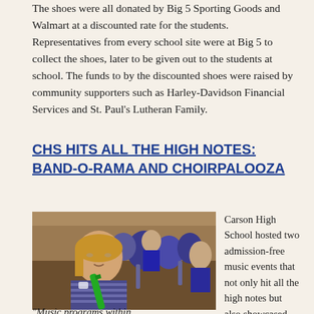The shoes were all donated by Big 5 Sporting Goods and Walmart at a discounted rate for the students. Representatives from every school site were at Big 5 to collect the shoes, later to be given out to the students at school. The funds to by the discounted shoes were raised by community supporters such as Harley-Davidson Financial Services and St. Paul's Lutheran Family.
CHS HITS ALL THE HIGH NOTES: BAND-O-RAMA AND CHOIRPALOOZA
[Figure (photo): Students playing musical instruments at Carson High School music event. A young girl in foreground plays a green instrument (clarinet/recorder). Other students in blue uniforms with instruments are visible in background.]
Carson High School hosted two admission-free music events that not only hit all the high notes but also showcased student talent and refined skill.
"Music programs within